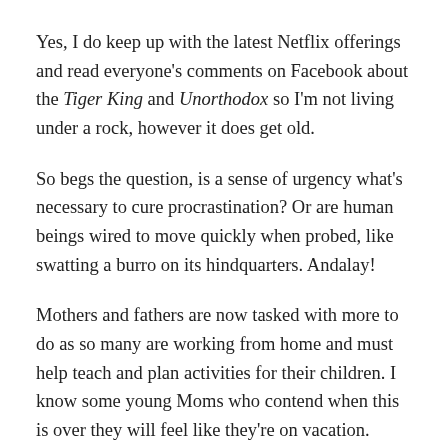Yes, I do keep up with the latest Netflix offerings and read everyone's comments on Facebook about the Tiger King and Unorthodox so I'm not living under a rock, however it does get old.
So begs the question, is a sense of urgency what's necessary to cure procrastination? Or are human beings wired to move quickly when probed, like swatting a burro on its hindquarters. Andalay!
Mothers and fathers are now tasked with more to do as so many are working from home and must help teach and plan activities for their children. I know some young Moms who contend when this is over they will feel like they're on vacation.